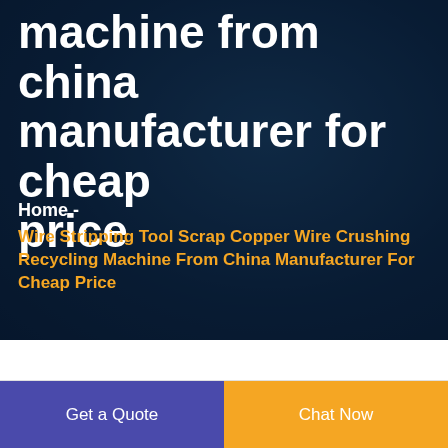machine from china manufacturer for cheap price
Home -
Wire Stripping Tool Scrap Copper Wire Crushing Recycling Machine From China Manufacturer For Cheap Price
Get a Quote
Chat Now